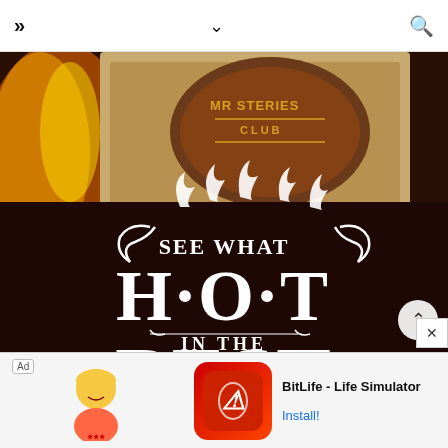>> navigation | chevron down | search icon
[Figure (photo): Dark brown background with white decorative text reading 'SEE WHAT H·O·T IN THE BEST' with flame graphics, and partial visible image of 'MYSTERIES CLUB' branded package with fire/flame background.]
[Figure (infographic): Advertisement banner: Ad label, character illustration on left, BitLife app icon (red with sperm logo), text 'BitLife - Life Simulator', and 'Install!' button link. White/light gray background.]